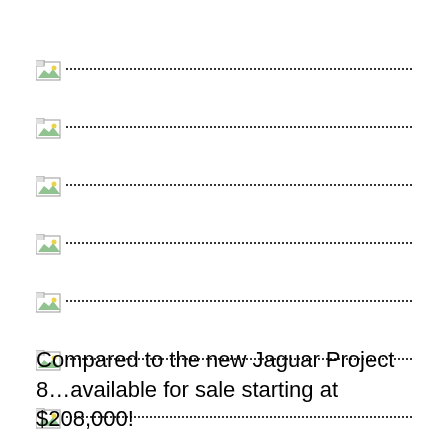[Figure (other): Broken image placeholder with dotted line, row 1]
[Figure (other): Broken image placeholder with dotted line, row 2]
[Figure (other): Broken image placeholder with dotted line, row 3]
[Figure (other): Broken image placeholder with dotted line, row 4]
[Figure (other): Broken image placeholder with dotted line, row 5]
[Figure (other): Broken image placeholder with dotted line, row 6]
[Figure (other): Broken image placeholder with dotted line, row 7]
Compared to the new Jaguar Project 8…available for sale starting at $208,000!